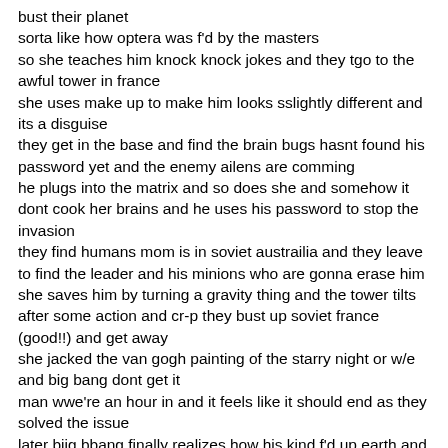bust their planet
sorta like how optera was f'd by the masters
so she teaches him knock knock jokes and they tgo to the awful tower in france
she uses make up to make him looks sslightly different and its a disguise
they get in the base and find the brain bugs hasnt found his password yet and the enemy ailens are comming
he plugs into the matrix and so does she and somehow it dont cook her brains and he uses his password to stop the invasion
they find humans mom is in soviet austrailia and they leave to find the leader and his minions who are gonna erase him
she saves him by turning a gravity thing and the tower tilts
after some action and cr-p they bust up soviet france (good!!) and get away
she jacked the van gogh painting of the starry night or w/e and big bang dont get it
man wwe're an hour in and it feels like it should end as they solved the issue
later biig bbang finally realizes how his kind f'd up earth and sez sorry